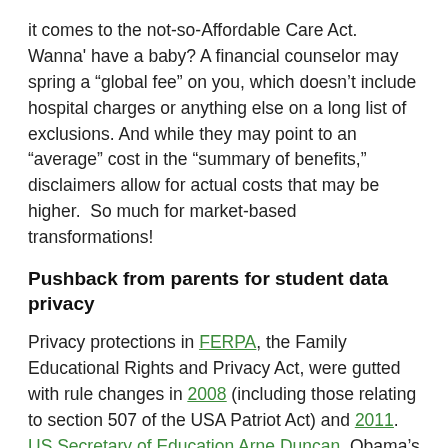it comes to the not-so-Affordable Care Act. Wanna' have a baby? A financial counselor may spring a “global fee” on you, which doesn’t include hospital charges or anything else on a long list of exclusions. And while they may point to an “average” cost in the “summary of benefits,” disclaimers allow for actual costs that may be higher. So much for market-based transformations!
Pushback from parents for student data privacy
Privacy protections in FERPA, the Family Educational Rights and Privacy Act, were gutted with rule changes in 2008 (including those relating to section 507 of the USA Patriot Act) and 2011. US Secretary of Education Arne Duncan, Obama’s basketball buddy, implemented these rule changes and sweetened the pot with stimulus money. States were tasked to create statewide longitudinal data systems that collect and warehouse student data.